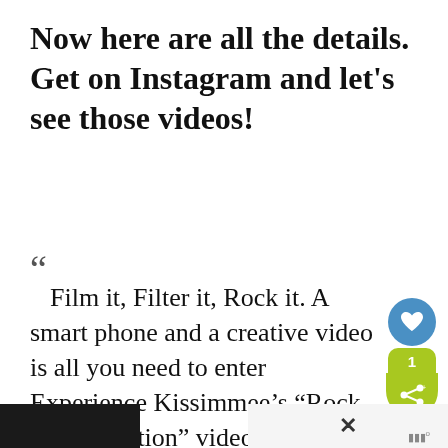Now here are all the details.  Get on Instagram and let's see those videos!
“ Film it, Filter it, Rock it. A smart phone and a creative video is all you need to enter Experience Kissimmee’s “Rock Your Vacation” video contest on Instagram, launching today.